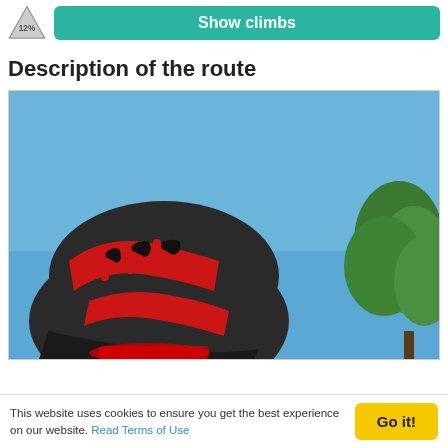[Figure (other): Climb icon triangle with 12% grade label and a teal 'Show climbs' button]
Description of the route
[Figure (photo): Photo of a cyclist wearing a red and black aerodynamic helmet viewed from below against a clear blue sky, with green trees visible on the right side]
This website uses cookies to ensure you get the best experience on our website. Read Terms of Use
Go it!